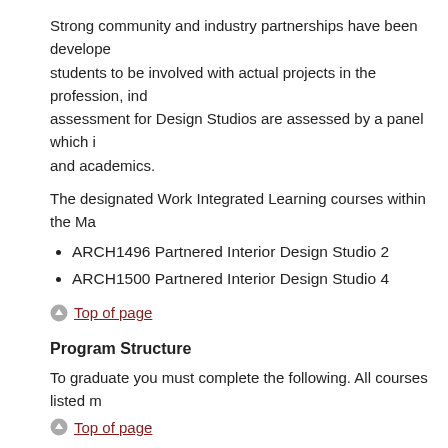Strong community and industry partnerships have been developed to enable students to be involved with actual projects in the profession, ind... assessment for Design Studios are assessed by a panel which in... and academics.
The designated Work Integrated Learning courses within the Mas...
ARCH1496 Partnered Interior Design Studio 2
ARCH1500 Partnered Interior Design Studio 4
Top of page
Program Structure
To graduate you must complete the following. All courses listed m...
Top of page
Year One
Complete the following Five (5) Courses: